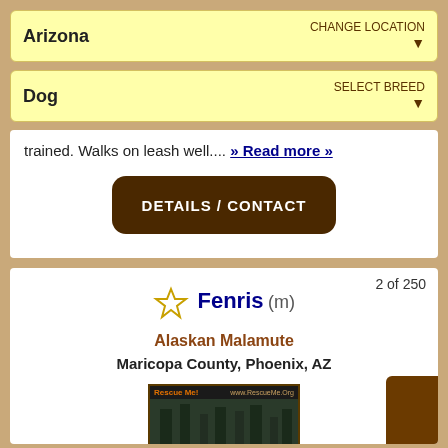Arizona / CHANGE LOCATION (dropdown)
Dog / SELECT BREED (dropdown)
trained. Walks on leash well.... » Read more »
DETAILS / CONTACT
2 of 250
Fenris (m)
Alaskan Malamute
Maricopa County, Phoenix, AZ
[Figure (photo): Photo of Fenris the Alaskan Malamute dog sitting in a forest setting, with Rescue Me! branding and www.RescueMe.Org URL in header]